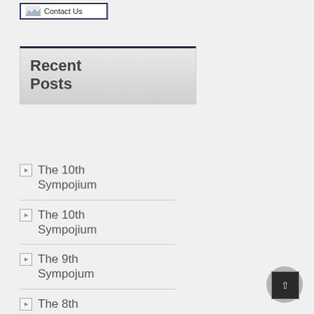[Figure (screenshot): Contact Us button with mountain/landscape icon and text 'Contact Us', bordered box]
Recent Posts
The 10th Sympojium
The 10th Sympojium
The 9th Sympojum
The 8th Sympojum
The 8th Symposium
The 7th Symposium